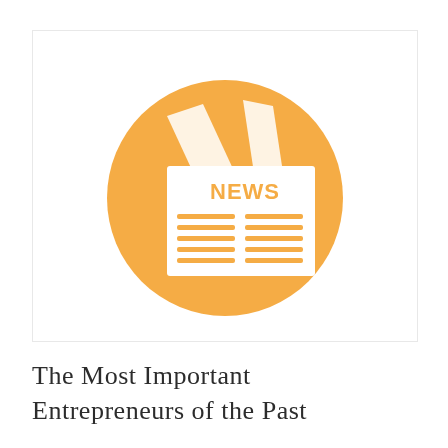[Figure (illustration): A circular orange/amber icon depicting a newspaper. The circle has a warm orange background. Inside is a white newspaper graphic with 'NEWS' written in bold orange letters across the top of the newspaper, and horizontal lines below representing article text in two columns. Behind the main newspaper, two additional paper sheets are partially visible at the top.]
The Most Important Entrepreneurs of the Past